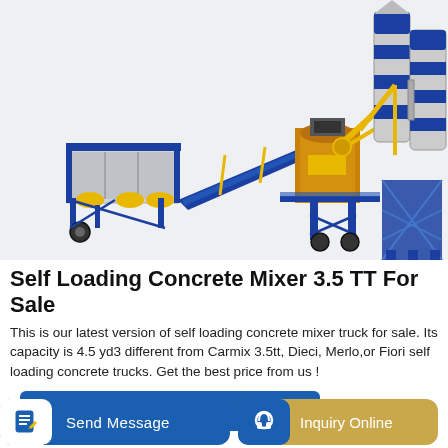[Figure (photo): Industrial concrete batching plant / self loading concrete mixer machine with blue steel frame structure, yellow conveyor belt, aggregate hopper on left, and tall cement silos with blue and white banding on the right. White/light grey background.]
Self Loading Concrete Mixer 3.5 TT For Sale
This is our latest version of self loading concrete mixer truck for sale. Its capacity is 4.5 yd3 different from Carmix 3.5tt, Dieci, Merlo,or Fiori self loading concrete trucks. Get the best price from us !
GET A QUOTE
Send Message
Inquiry Online